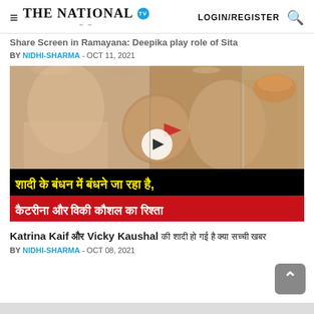THE NATIONAL TV   LOGIN/REGISTER
Share Screen in Ramayana: Deepika play role of Sita
BY NIDHI-SHARMA - OCT 11, 2021
[Figure (photo): Wedding photo collage of Katrina Kaif and Vicky Kaushal with Hindi text overlay: शादी के बंधन में बंधने जा रहा है, कैटरीना और विकी कौशल का रिश्ता]
Katrina Kaif और Vicky Kaushal की शादी हो गई है क्या सच्ची खबर
BY NIDHI-SHARMA - OCT 08, 2021